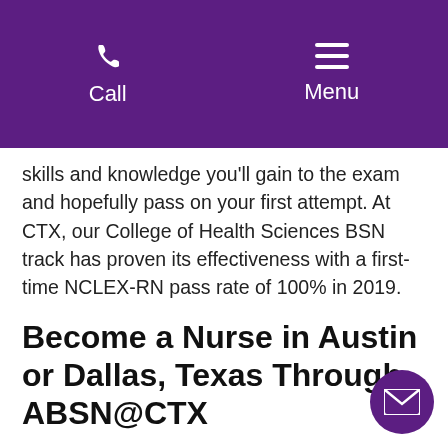Call  Menu
skills and knowledge you'll gain to the exam and hopefully pass on your first attempt. At CTX, our College of Health Sciences BSN track has proven its effectiveness with a first-time NCLEX-RN pass rate of 100% in 2019.
Become a Nurse in Austin or Dallas, Texas Through ABSN@CTX
Now that you have a good understanding of how long it takes to become a nurse in Texas, you're equipped to make the right choice for your career and your life. With help from the right school and nursing track, you'll be ready to make a difference